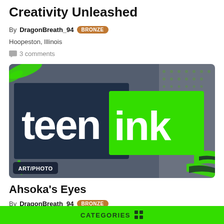Creativity Unleashed
By DragonBreath_94 BRONZE
Hoopeston, Illinois
3 comments
[Figure (logo): Teen Ink logo: white bold 'teen' text on dark navy background, 'ink' text on bright green rectangle, with green paint splatter elements and dotted halftone pattern on gray background. Badge label 'ART/PHOTO' in bottom-left corner.]
Ahsoka's Eyes
By DragonBreath_94 BRONZE
CATEGORIES